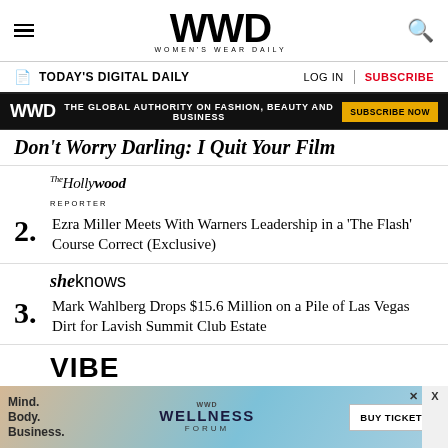WWD WOMEN'S WEAR DAILY
TODAY'S DIGITAL DAILY
[Figure (infographic): WWD ad banner: THE GLOBAL AUTHORITY ON FASHION, BEAUTY AND BUSINESS | SUBSCRIBE NOW]
Don't Worry Darling: I Quit Your Film
[Figure (logo): The Hollywood Reporter logo]
2. Ezra Miller Meets With Warners Leadership in a 'The Flash' Course Correct (Exclusive)
[Figure (logo): SheKnows logo]
3. Mark Wahlberg Drops $15.6 Million on a Pile of Las Vegas Dirt for Lavish Summit Club Estate
[Figure (logo): VIBE logo]
[Figure (infographic): WWD Wellness Forum bottom ad banner with BUY TICKETS button]